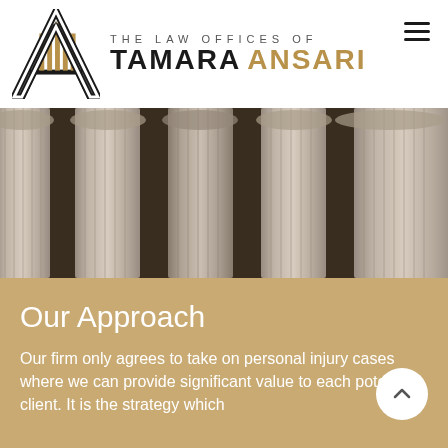[Figure (logo): The Law Offices of Tamara Ansari logo with stylized letter A containing pillar columns, and text 'THE LAW OFFICES OF TAMARA ANSARI' where ANSARI is in gold and TAMARA is in black]
[Figure (photo): Photograph of classical stone architectural columns (Corinthian or Ionic style) viewed from below, in black and white / sepia tones]
Our Approach
Our firm only agrees to take on personal injury cases where we can provide significant value to each potential client. It is the strategy which